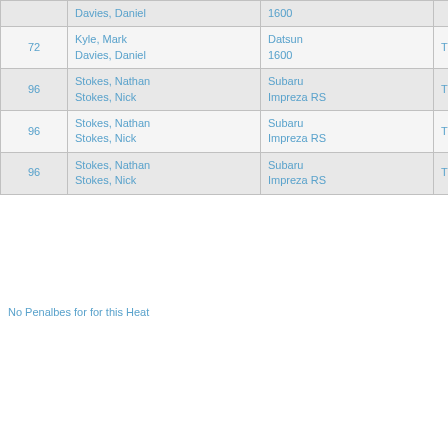|  | Name | Car | Class |
| --- | --- | --- | --- |
|  | Davies, Daniel | 1600 |  |
| 72 | Kyle, Mark
Davies, Daniel | Datsun
1600 | TC6D |
| 96 | Stokes, Nathan
Stokes, Nick | Subaru
Impreza RS | TC6D |
| 96 | Stokes, Nathan
Stokes, Nick | Subaru
Impreza RS | TC6C |
| 96 | Stokes, Nathan
Stokes, Nick | Subaru
Impreza RS | TC9 |
No Penalbes for for this Heat